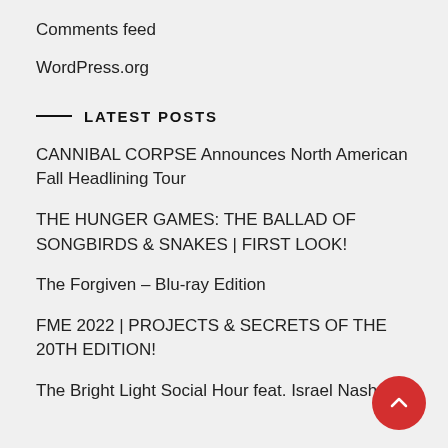Comments feed
WordPress.org
LATEST POSTS
CANNIBAL CORPSE Announces North American Fall Headlining Tour
THE HUNGER GAMES: THE BALLAD OF SONGBIRDS & SNAKES | FIRST LOOK!
The Forgiven – Blu-ray Edition
FME 2022 | PROJECTS & SECRETS OF THE 20TH EDITION!
The Bright Light Social Hour feat. Israel Nash